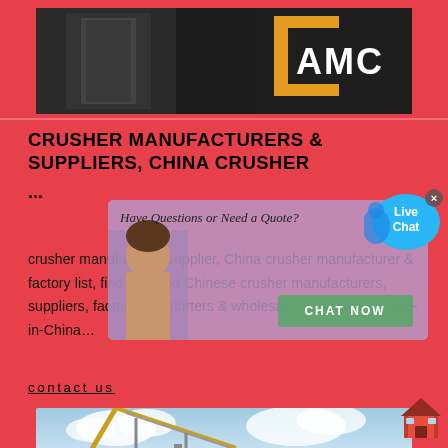[Figure (photo): Top image showing dark machinery with AMC logo (orange/yellow angular bracket shape with text AMC) on the right side against a dark background.]
CRUSHER MANUFACTURERS & SUPPLIERS, CHINA CRUSHER
...
crusher manufacturer/supplier, China crusher manufacturer & factory list, find qualified Chinese crusher manufacturers, suppliers, factories, exporters & wholesalers quickly on Made-in-China…
contact us
[Figure (photo): Bottom image showing industrial crane or conveyor structure against a cloudy sky, with yellow structural elements visible.]